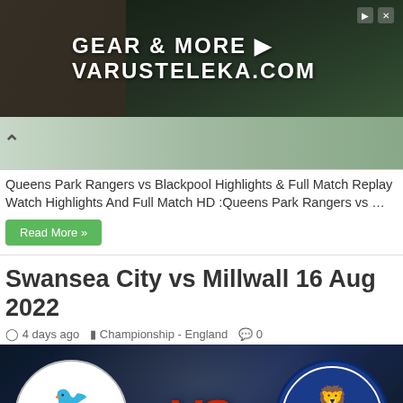[Figure (photo): Advertisement banner for Varusteleka.com - GEAR & MORE with dark forest/outdoor background]
[Figure (photo): Previous article thumbnail with crowd in background]
Queens Park Rangers vs Blackpool Highlights & Full Match Replay Watch Highlights And Full Match HD :Queens Park Rangers vs …
Read More »
Swansea City vs Millwall 16 Aug 2022
4 days ago   Championship - England   0
[Figure (photo): Match graphic showing Swansea City AFC logo vs Millwall Football Club 1885 logo with stadium background and VS in red]